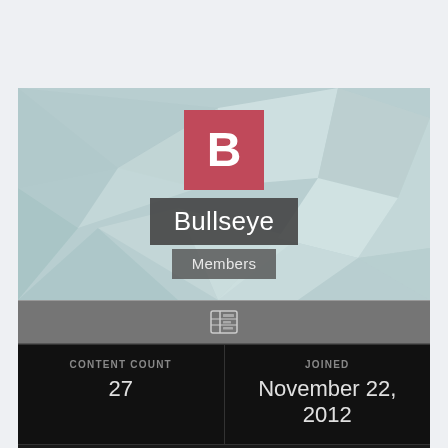[Figure (illustration): User profile card with geometric polygon background banner, pink avatar box with letter B, dark username label 'Bullseye', dark role label 'Members', a gray toolbar with a grid icon, and stats sections showing Content Count 27, Joined November 22 2012, and Last Visited November 22 2012]
Bullseye
Members
| CONTENT COUNT | JOINED |
| --- | --- |
| 27 | November 22, 2012 |
| LAST VISITED |
| --- |
| November 22, 2012 |